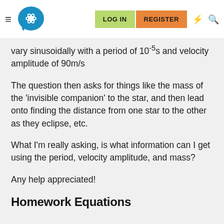Navigation bar with hamburger menu, logo, LOG IN, REGISTER, lightning and search icons
vary sinusoidally with a period of 10⁻⁵s and velocity amplitude of 90m/s
The question then asks for things like the mass of the 'invisible companion' to the star, and then lead onto finding the distance from one star to the other as they eclipse, etc.
What I'm really asking, is what information can I get using the period, velocity amplitude, and mass?
Any help appreciated!
Homework Equations